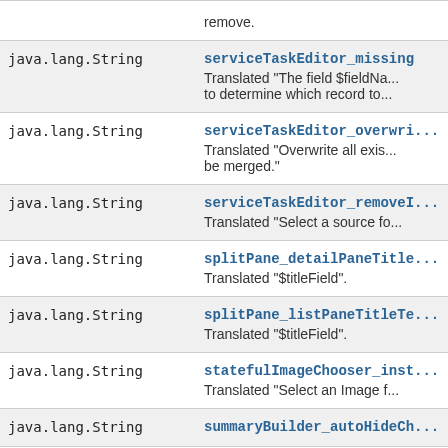| Type | Method/Description |
| --- | --- |
| java.lang.String | serviceTaskEditor_missing
Translated "The field $fieldNa... to determine which record to..." |
| java.lang.String | serviceTaskEditor_overwri...
Translated "Overwrite all exis... be merged." |
| java.lang.String | serviceTaskEditor_removeI...
Translated "Select a source fo..." |
| java.lang.String | splitPane_detailPaneTitle...
Translated "$titleField". |
| java.lang.String | splitPane_listPaneTitleTe...
Translated "$titleField". |
| java.lang.String | statefulImageChooser_inst...
Translated "Select an Image f..." |
| java.lang.String | summaryBuilder_autoHideCh... |